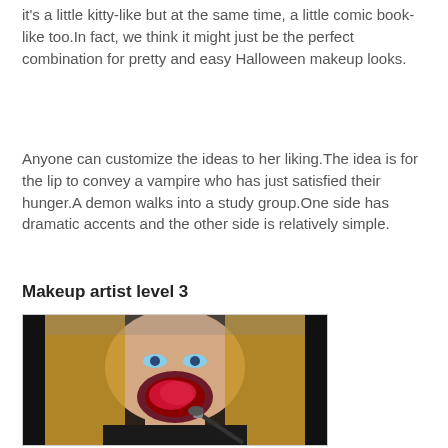it's a little kitty-like but at the same time, a little comic book-like too.In fact, we think it might just be the perfect combination for pretty and easy Halloween makeup looks.
Anyone can customize the ideas to her liking.The idea is for the lip to convey a vampire who has just satisfied their hunger.A demon walks into a study group.One side has dramatic accents and the other side is relatively simple.
Makeup artist level 3
[Figure (photo): A young blonde woman applying gore/zombie Halloween makeup around her mouth using a makeup brush, wearing a black top, with dramatic bloody-looking makeup effect around her lower face.]